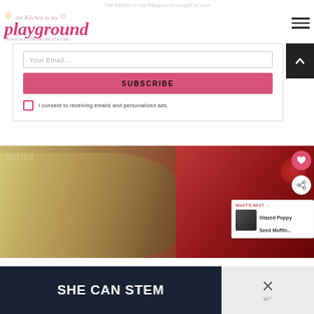The Kitchen is My Playground straight to your
[Figure (logo): The Kitchen is My Playground blog logo with cupcakes and pink script text reading 'playground', tagline 'Having Fun, One Recipe At A Time']
Your Email...
SUBSCRIBE
I consent to receiving emails and personalized ads.
[Figure (photo): Close-up food photo showing glazed poppy seed muffins next to a jar of Smucker's strawberry jam with butter text visible]
WHAT'S NEXT →
Glazed Poppy Seed Muffin...
SHE CAN STEM